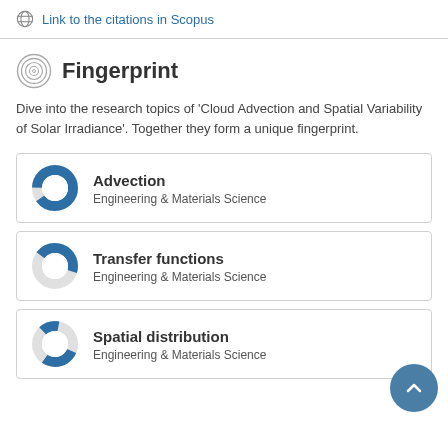Link to the citations in Scopus
Fingerprint
Dive into the research topics of 'Cloud Advection and Spatial Variability of Solar Irradiance'. Together they form a unique fingerprint.
Advection
Engineering & Materials Science
Transfer functions
Engineering & Materials Science
Spatial distribution
Engineering & Materials Science